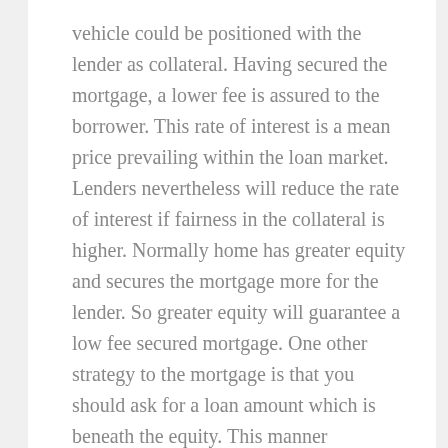vehicle could be positioned with the lender as collateral. Having secured the mortgage, a lower fee is assured to the borrower. This rate of interest is a mean price prevailing within the loan market. Lenders nevertheless will reduce the rate of interest if fairness in the collateral is higher. Normally home has greater equity and secures the mortgage more for the lender. So greater equity will guarantee a low fee secured mortgage. One other strategy to the mortgage is that you should ask for a loan amount which is beneath the equity. This manner additionally, the lenders really feel more secured, as in case of cost default in the event that they should sell borrower's property, the loaned amount can definitely be recovered. One can borrow low price secured loans in the range of Â£5000 to Â£75000.
For example, people should save for retirement , which